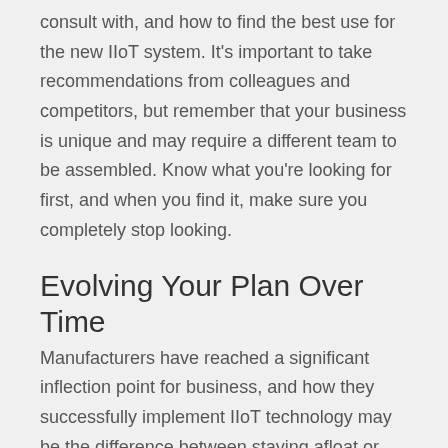consult with, and how to find the best use for the new IIoT system. It's important to take recommendations from colleagues and competitors, but remember that your business is unique and may require a different team to be assembled. Know what you're looking for first, and when you find it, make sure you completely stop looking.
Evolving Your Plan Over Time
Manufacturers have reached a significant inflection point for business, and how they successfully implement IIoT technology may be the difference between staying afloat or filing for bankruptcy in the next 5 years. Although the above 5 challenges